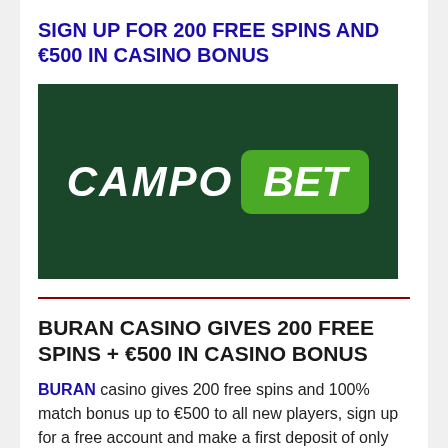SIGN UP FOR 200 FREE SPINS AND €500 IN CASINO BONUS
[Figure (logo): CampoBet logo — dark green background with white italic 'CAMPO' text and green rounded rectangle containing white italic 'BET' text]
BURAN CASINO GIVES 200 FREE SPINS + €500 IN CASINO BONUS
BURAN casino gives 200 free spins and 100% match bonus up to €500 to all new players, sign up for a free account and make a first deposit of only €20 to claim 200 free spins and 100%